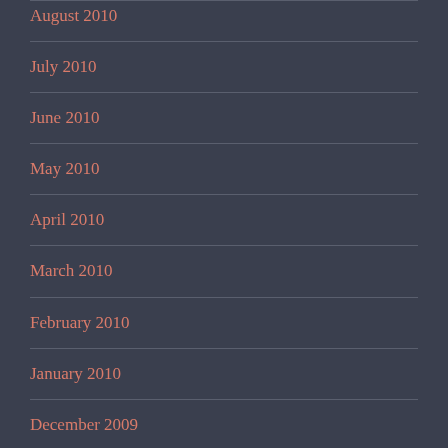August 2010
July 2010
June 2010
May 2010
April 2010
March 2010
February 2010
January 2010
December 2009
November 2009
October 2009